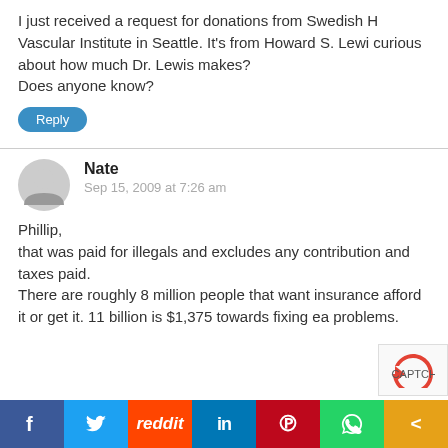I just received a request for donations from Swedish H Vascular Institute in Seattle. It's from Howard S. Lewi curious about how much Dr. Lewis makes? Does anyone know?
Reply
Nate
Sep 15, 2009 at 7:26 am
Phillip,
that was paid for illegals and excludes any contribution and taxes paid.
There are roughly 8 million people that want insurance afford it or get it. 11 billion is $1,375 towards fixing ea problems.
[Figure (infographic): Social sharing bar with icons: Facebook, Twitter, Reddit, LinkedIn, Pinterest, WhatsApp, Share]